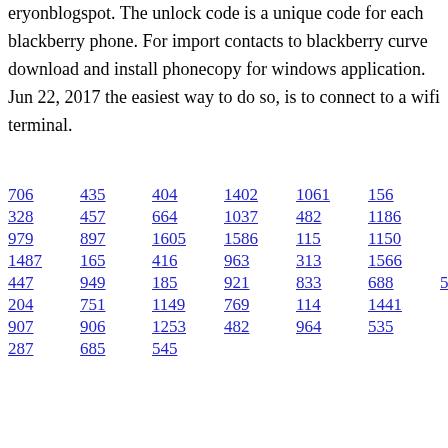eryonblogspot. The unlock code is a unique code for each blackberry phone. For import contacts to blackberry curve download and install phonecopy for windows application. Jun 22, 2017 the easiest way to do so, is to connect to a wifi terminal.
706  435  404  1402  1061  156
328  457  664  1037  482  1186
979  897  1605  1586  115  1150
1487  165  416  963  313  1566
447  949  185  921  833  688  589
204  751  1149  769  114  1441
907  906  1253  482  964  535
287  685  545